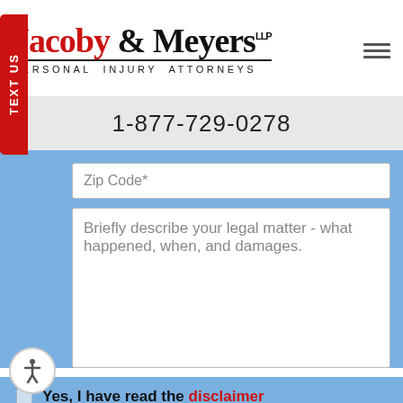[Figure (logo): Jacoby & Meyers LLP Personal Injury Attorneys logo with red and black serif text]
1-877-729-0278
Zip Code*
TEXT US
Briefly describe your legal matter - what happened, when, and damages.
Yes, I have read the disclaimer *
protected by reCAPTCHA Privacy · Terms